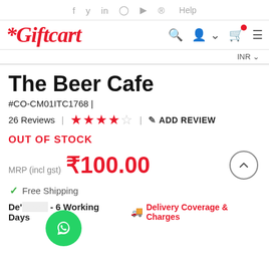f  y  in  (instagram)  (youtube)  (pinterest)  Help
[Figure (logo): Giftcart logo in red cursive script with search, account, cart, and menu icons]
INR ∨
The Beer Cafe
#CO-CM01ITC1768 |
26 Reviews | ★★★★☆ | ✎ ADD REVIEW
OUT OF STOCK
MRP (incl gst) ₹100.00
✓  Free Shipping
De'... - 6 Working Days  🚚 Delivery Coverage & Charges